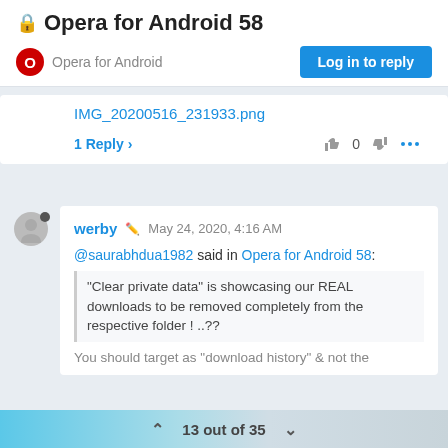Opera for Android 58
Opera for Android
Log in to reply
IMG_20200516_231933.png
1 Reply >
0
werby   May 24, 2020, 4:16 AM
@saurabhdua1982 said in Opera for Android 58:
"Clear private data" is showcasing our REAL downloads to be removed completely from the respective folder ! ..??
You should target as "download history" & not the
13 out of 35